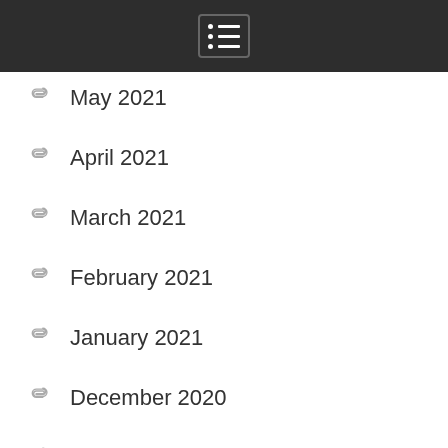Navigation menu header bar
May 2021
April 2021
March 2021
February 2021
January 2021
December 2020
November 2020
October 2020
September 2020
August 2020
July 2020
June 2020
May 2020